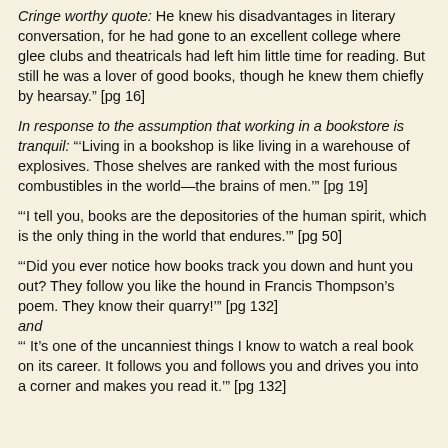Cringe worthy quote: He knew his disadvantages in literary conversation, for he had gone to an excellent college where glee clubs and theatricals had left him little time for reading. But still he was a lover of good books, though he knew them chiefly by hearsay." [pg 16]
In response to the assumption that working in a bookstore is tranquil: "'Living in a bookshop is like living in a warehouse of explosives. Those shelves are ranked with the most furious combustibles in the world—the brains of men.'" [pg 19]
"'I tell you, books are the depositories of the human spirit, which is the only thing in the world that endures.'" [pg 50]
"'Did you ever notice how books track you down and hunt you out? They follow you like the hound in Francis Thompson's poem. They know their quarry!'" [pg 132] and "' It's one of the uncanniest things I know to watch a real book on its career. It follows you and follows you and drives you into a corner and makes you read it.'" [pg 132]